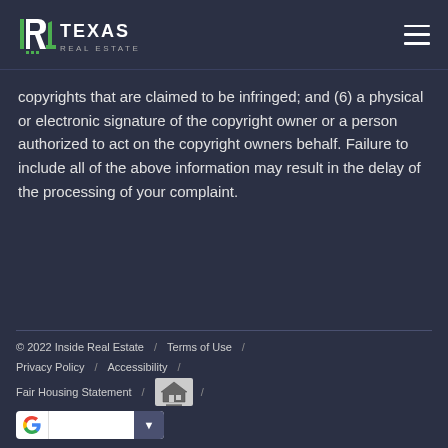Texas Real Estate
copyrights that are claimed to be infringed; and (6) a physical or electronic signature of the copyright owner or a person authorized to act on the copyright owners behalf. Failure to include all of the above information may result in the delay of the processing of your complaint.
© 2022 Inside Real Estate / Terms of Use / Privacy Policy / Accessibility / Fair Housing Statement / [Equal Housing Logo] / [Google search bar]